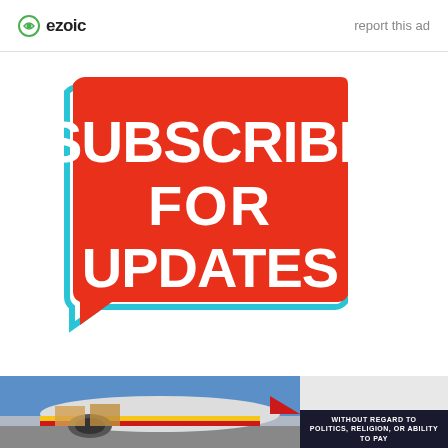ezoic   report this ad
[Figure (illustration): Red speech bubble with cyan outline containing bold white text 'SUBSCRIBE FOR UPDATES' on white background]
Subscribe to Blog via Email
[Figure (photo): Airplane being loaded with cargo, American Airlines colors, with dark overlay banner reading 'WITHOUT REGARD TO POLITICS, RELIGION, OR ABILITY TO PAY']